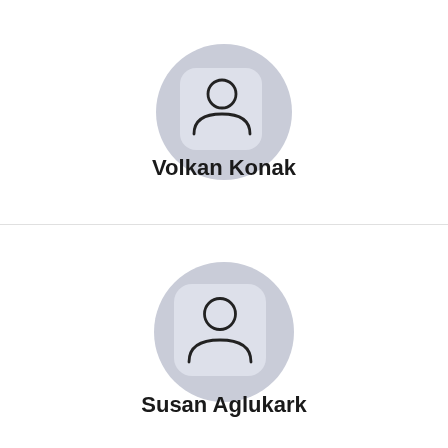[Figure (illustration): User profile avatar icon: a circular lavender background with a rounded square card inside, containing a person silhouette icon (head circle and shoulders arc)]
Volkan Konak
[Figure (illustration): User profile avatar icon: a circular lavender background with a rounded square card inside, containing a person silhouette icon (head circle and shoulders arc)]
Susan Aglukark